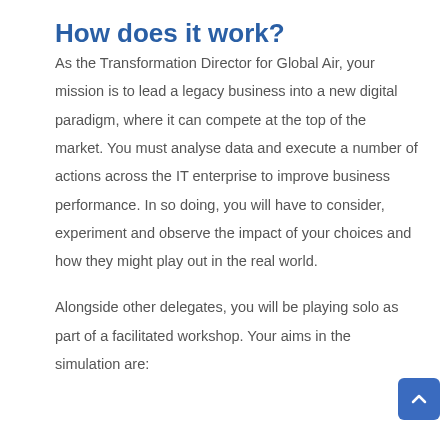How does it work?
As the Transformation Director for Global Air, your mission is to lead a legacy business into a new digital paradigm, where it can compete at the top of the market. You must analyse data and execute a number of actions across the IT enterprise to improve business performance. In so doing, you will have to consider, experiment and observe the impact of your choices and how they might play out in the real world.
Alongside other delegates, you will be playing solo as part of a facilitated workshop. Your aims in the simulation are: